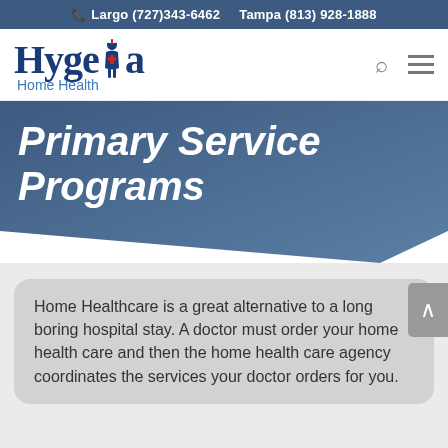Largo (727)343-6462   Tampa (813) 928-1888
[Figure (logo): Hygeia Home Health logo with nurse figure between 'Hyge' and 'a']
Primary Service Programs
Home Healthcare is a great alternative to a long boring hospital stay. A doctor must order your home health care and then the home health care agency coordinates the services your doctor orders for you.